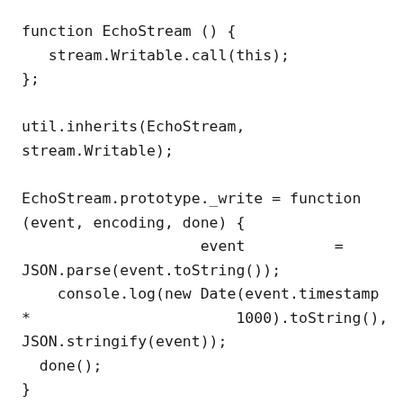function EchoStream () {
   stream.Writable.call(this);
};

util.inherits(EchoStream,
stream.Writable);

EchoStream.prototype._write = function
(event, encoding, done) {
                    event          =
JSON.parse(event.toString());
    console.log(new Date(event.timestamp
*                       1000).toString(),
JSON.stringify(event));
  done();
}